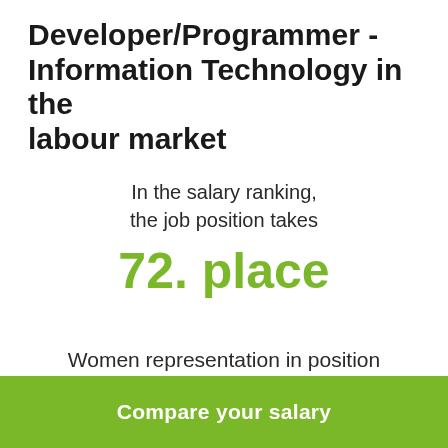Developer/Programmer - Information Technology in the labour market
In the salary ranking, the job position takes
72. place
Women representation in position
Compare your salary